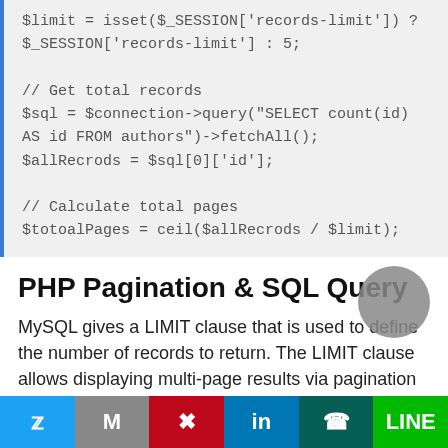[Figure (screenshot): PHP code block showing session limit variable assignment, SQL query to get total records from authors table, and calculation of total pages using ceil function.]
PHP Pagination & SQL Query
MySQL gives a LIMIT clause that is used to define the number of records to return. The LIMIT clause allows displaying multi-page results via pagination